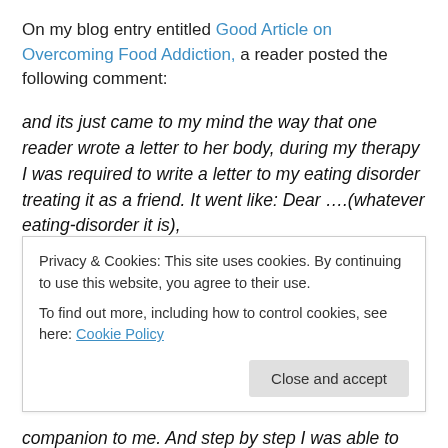On my blog entry entitled Good Article on Overcoming Food Addiction, a reader posted the following comment:
and its just came to my mind the way that one reader wrote a letter to her body, during my therapy I was required to write a letter to my eating disorder treating it as a friend. It went like: Dear ….(whatever eating-disorder it is),
I would like to thank you for….
ie. always being there for me, for always protecting me…
Privacy & Cookies: This site uses cookies. By continuing to use this website, you agree to their use.
To find out more, including how to control cookies, see here: Cookie Policy
companion to me. And step by step I was able to see my